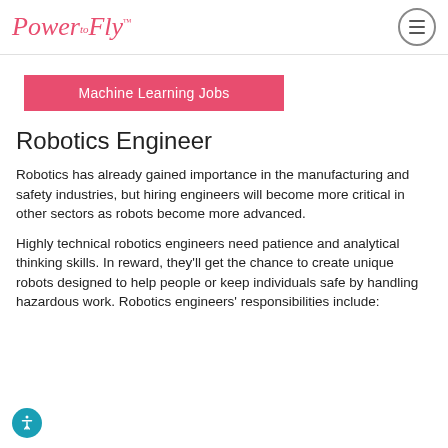PowerFly™
Machine Learning Jobs
Robotics Engineer
Robotics has already gained importance in the manufacturing and safety industries, but hiring engineers will become more critical in other sectors as robots become more advanced.
Highly technical robotics engineers need patience and analytical thinking skills. In reward, they'll get the chance to create unique robots designed to help people or keep individuals safe by handling hazardous work. Robotics engineers' responsibilities include: